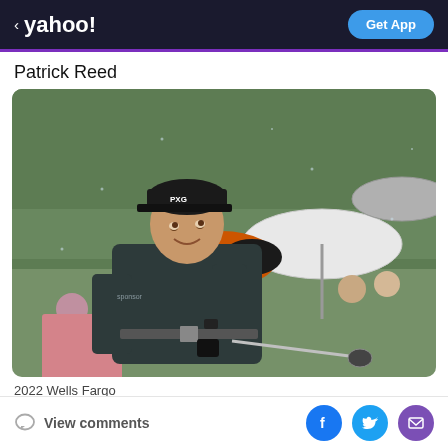< yahoo! | Get App
Patrick Reed
[Figure (photo): Patrick Reed, professional golfer, wearing a dark polo shirt and black PXG cap, mid-swing with a driver, looking up. Background shows spectators with umbrellas including an orange and black umbrella. Rainy conditions.]
2022 Wells Fargo
View comments | Facebook | Twitter | Email